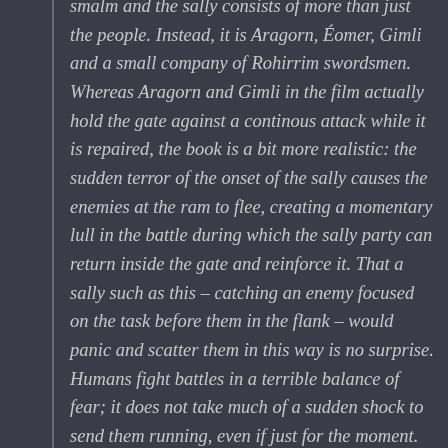smalm and the sally consists of more than just the people. Instead, it is Aragorn, Éomer, Gimli and a small company of Rohirrim swordsmen. Whereas Aragorn and Gimli in the film actually hold the gate against a continous attack while it is repaired, the book is a bit more realistic: the sudden terror of the onset of the sally causes the enemies at the ram to flee, creating a momentary lull in the battle during which the sally party can return inside the gate and reinforce it. That a sally such as this – catching an enemy focused on the task before them in the flank – would panic and scatter them in this way is no surprise. Humans fight battles in a terrible balance of fear; it does not take much of a sudden shock to send them running, even if just for the moment. Especially when they are so poorly trained and led